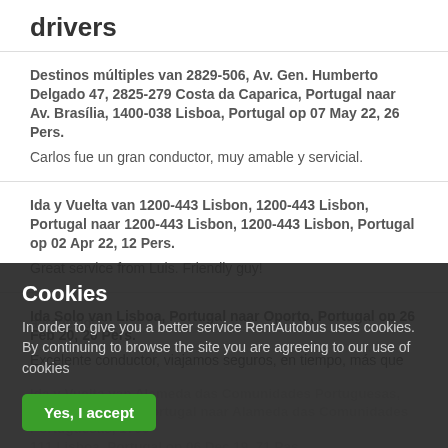drivers
Destinos múltiples van 2829-506, Av. Gen. Humberto Delgado 47, 2825-279 Costa da Caparica, Portugal naar Av. Brasília, 1400-038 Lisboa, Portugal op 07 May 22, 26 Pers.
Carlos fue un gran conductor, muy amable y servicial.
Ida y Vuelta van 1200-443 Lisbon, 1200-443 Lisbon, Portugal naar 1200-443 Lisbon, 1200-443 Lisbon, Portugal op 02 Apr 22, 12 Pers.
Great service from Luis. Friendly guy!
Ida Solo van Lisboa, Portugal naar Oporto, Portugal op 26 Feb 20, 20 Pers.
Excelente conductor, viajamos seguros, en tiempo, más que agradecidos.
Ida y Vuelta van Alameda das Comunidades Portuguesas, 1700-111 Lisboa, Portugal naar Alameda das Comunidades Portuguesas, 1700-111 Lisboa, Portugal op 06 Dec 19, 71 Pas.
he pick up time to wrong for our return trip to the airport. However, he made every effort to still come and get us, which
Cookies
In order to give you a better service RentAutobus uses cookies. By continuing to browse the site you are agreeing to our use of cookies
Yes, I accept